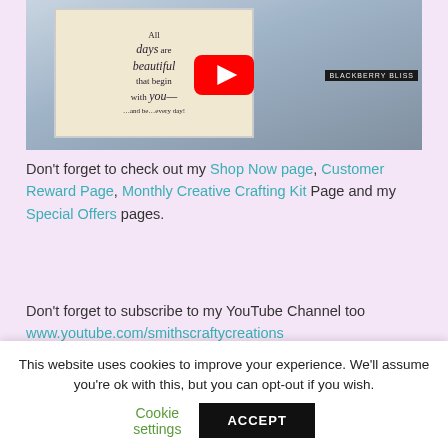[Figure (screenshot): YouTube video thumbnail showing a handmade greeting card with the text 'All days are beautiful that begin with you' and a YouTube play button overlay. A 'Blackberry Bliss' ink pad is visible on the right. Scattered embellishments on a cutting mat in the background.]
Don't forget to check out my Shop Now page, Customer Reward Page, Monthly Creative Crafting Kit Page and my Special Offers pages.
Don't forget to subscribe to my YouTube Channel too www.youtube.com/smithscraftycreations
This website uses cookies to improve your experience. We'll assume you're ok with this, but you can opt-out if you wish.  Cookie settings  ACCEPT